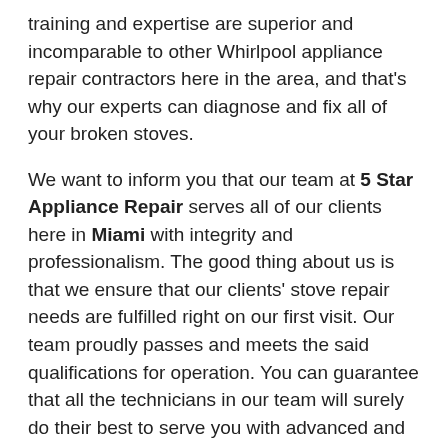training and expertise are superior and incomparable to other Whirlpool appliance repair contractors here in the area, and that's why our experts can diagnose and fix all of your broken stoves.
We want to inform you that our team at 5 Star Appliance Repair serves all of our clients here in Miami with integrity and professionalism. The good thing about us is that we ensure that our clients' stove repair needs are fulfilled right on our first visit. Our team proudly passes and meets the said qualifications for operation. You can guarantee that all the technicians in our team will surely do their best to serve you with advanced and exceptional Whirlpool stove repair in Miami, FL.
Why Choose Us?
Have enough years of experience in the business